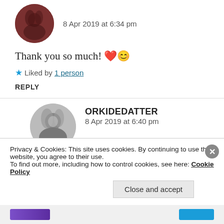8 Apr 2019 at 6:34 pm
Thank you so much! ❤️😊
★ Liked by 1 person
REPLY
[Figure (photo): Round avatar photo of a person with dark hair, reddish/brown tones]
ORKIDEDATTER
8 Apr 2019 at 6:40 pm
[Figure (photo): Round black and white avatar photo of a young woman with light hair]
Privacy & Cookies: This site uses cookies. By continuing to use this website, you agree to their use.
To find out more, including how to control cookies, see here: Cookie Policy
Close and accept